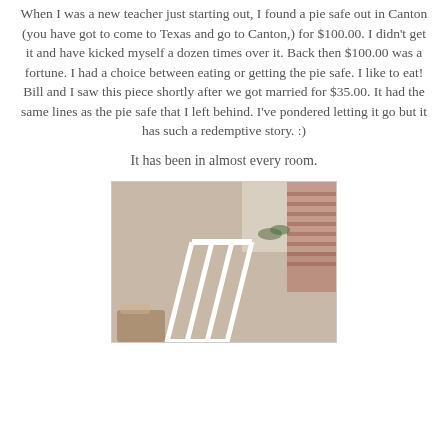When I was a new teacher just starting out, I found a pie safe out in Canton (you have got to come to Texas and go to Canton,) for $100.00. I didn't get it and have kicked myself a dozen times over it. Back then $100.00 was a fortune. I had a choice between eating or getting the pie safe. I like to eat! Bill and I saw this piece shortly after we got married for $35.00. It had the same lines as the pie safe that I left behind. I've pondered letting it go but it has such a redemptive story. :)
It has been in almost every room.
[Figure (photo): Interior room photo showing a staircase with white railing, a brick fireplace or wall on the right side, warm neutral wall color, and some items at the bottom left corner.]